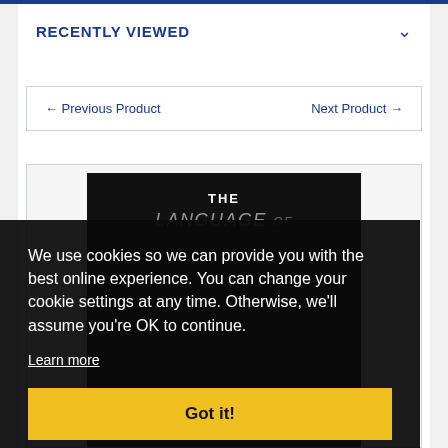RECENTLY VIEWED
← Previous Product    Next Product →
[Figure (photo): Book cover showing 'THE LANGUAGE OF...' text on a black background with a Feedback button at the bottom]
We use cookies so we can provide you with the best online experience. You can change your cookie settings at any time. Otherwise, we'll assume you're OK to continue.
Learn more
Got it!